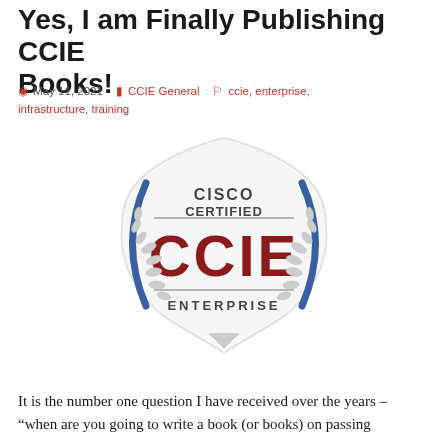Yes, I am Finally Publishing CCIE Books!
May 11, 2021   CCIE General   ccie, enterprise, infrastructure, training
[Figure (logo): CCIE Enterprise certification logo: shield shape with 'CISCO CERTIFIED' at top in dark gray, 'CCIE' in large dark red letters, 'ENTERPRISE' at bottom in dark gray, framed by blue curved brackets and decorative gray laurel wreath]
It is the number one question I have received over the years – “when are you going to write a book (or books) on passing